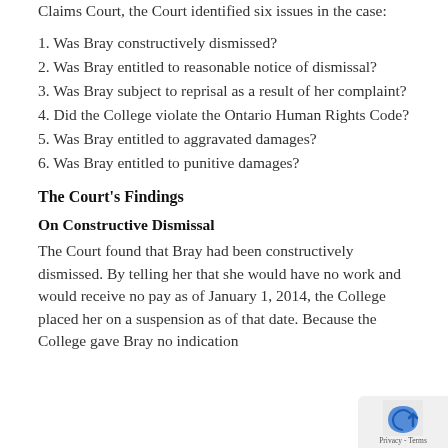Claims Court, the Court identified six issues in the case:
1. Was Bray constructively dismissed?
2. Was Bray entitled to reasonable notice of dismissal?
3. Was Bray subject to reprisal as a result of her complaint?
4. Did the College violate the Ontario Human Rights Code?
5. Was Bray entitled to aggravated damages?
6. Was Bray entitled to punitive damages?
The Court's Findings
On Constructive Dismissal
The Court found that Bray had been constructively dismissed. By telling her that she would have no work and would receive no pay as of January 1, 2014, the College placed her on a suspension as of that date. Because the College gave Bray no indication